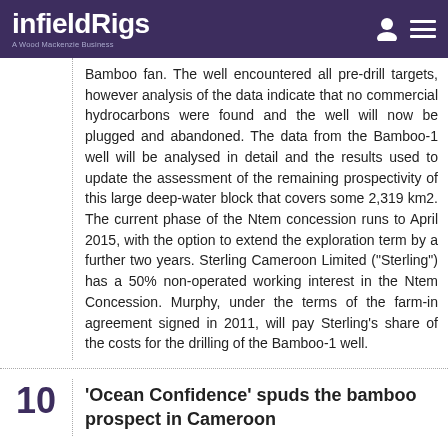infieldRigs - A Wood Mackenzie Business
Bamboo fan. The well encountered all pre-drill targets, however analysis of the data indicate that no commercial hydrocarbons were found and the well will now be plugged and abandoned. The data from the Bamboo-1 well will be analysed in detail and the results used to update the assessment of the remaining prospectivity of this large deep-water block that covers some 2,319 km2. The current phase of the Ntem concession runs to April 2015, with the option to extend the exploration term by a further two years. Sterling Cameroon Limited ("Sterling") has a 50% non-operated working interest in the Ntem Concession. Murphy, under the terms of the farm-in agreement signed in 2011, will pay Sterling's share of the costs for the drilling of the Bamboo-1 well.
'Ocean Confidence' spuds the bamboo prospect in Cameroon